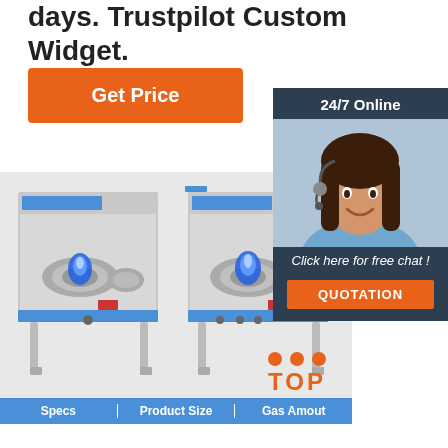days. Trustpilot Custom Widget.
Get Price
[Figure (photo): Customer service agent (woman with headset) in a dark blue panel with '24/7 Online' header, 'Click here for free chat!' text, and an orange QUOTATION button]
[Figure (photo): Two stainless steel commercial single-burner gas wok stoves with blue flames, shown side by side on a light grey background]
| Specs | Product Size | Gas Amout |
| --- | --- | --- |